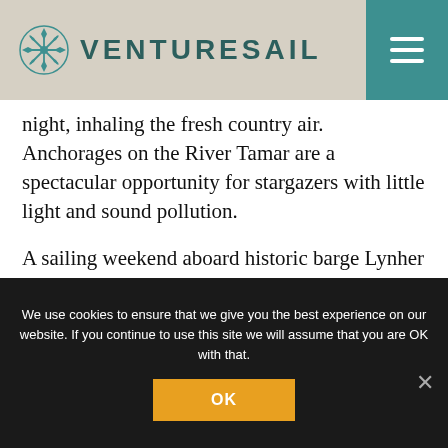VENTURESAIL
night, inhaling the fresh country air. Anchorages on the River Tamar are a spectacular opportunity for stargazers with little light and sound pollution.
A sailing weekend aboard historic barge Lynher certainly makes for a  perfect getaway for families or small groups who want to immerse themselves in a river sailing glamping experience.
We use cookies to ensure that we give you the best experience on our website. If you continue to use this site we will assume that you are OK with that.